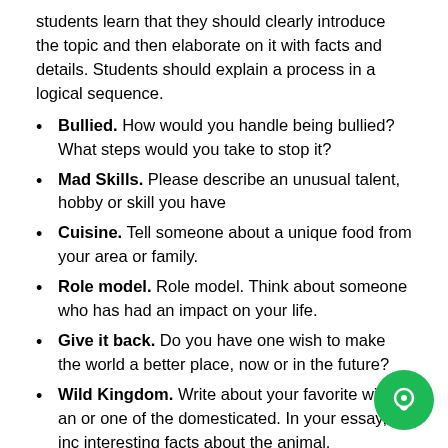students learn that they should clearly introduce the topic and then elaborate on it with facts and details. Students should explain a process in a logical sequence.
Bullied. How would you handle being bullied? What steps would you take to stop it?
Mad Skills. Please describe an unusual talent, hobby or skill you have
Cuisine. Tell someone about a unique food from your area or family.
Role model. Role model. Think about someone who has had an impact on your life.
Give it back. Do you have one wish to make the world a better place, now or in the future?
Wild Kingdom. Write about your favorite wild an or one of the domesticated. In your essay, inc interesting facts about the animal.